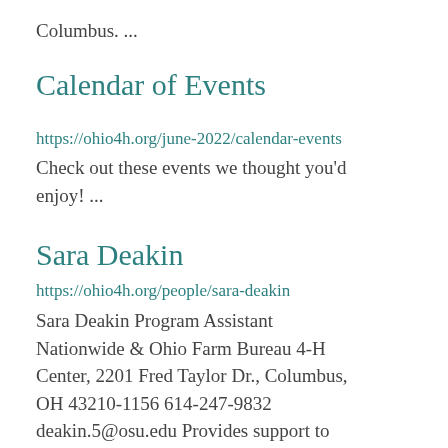Columbus. ...
Calendar of Events
https://ohio4h.org/june-2022/calendar-events
Check out these events we thought you'd enjoy! ...
Sara Deakin
https://ohio4h.org/people/sara-deakin
Sara Deakin Program Assistant Nationwide & Ohio Farm Bureau 4-H Center, 2201 Fred Taylor Dr., Columbus, OH 43210-1156 614-247-9832 deakin.5@osu.edu Provides support to Ohio 4-H the...